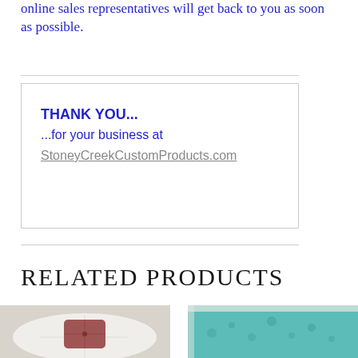online sales representatives will get back to you as soon as possible.
THANK YOU...
...for your business at
StoneyCreekCustomProducts.com
RELATED PRODUCTS
[Figure (photo): White tufted pillow with a small mauve/rose square pillow on top]
[Figure (photo): Teal/turquoise cushion or upholstered furniture piece with white decorative trim]